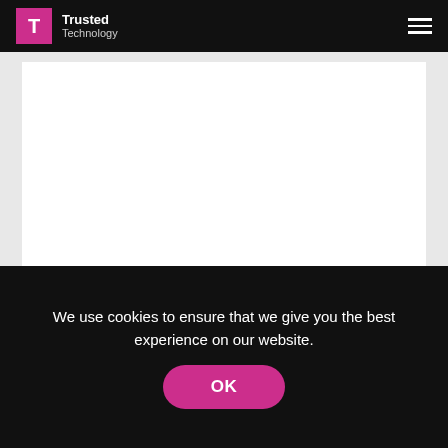Trusted Technology
Official Aquavision TV Providers
We use cookies to ensure that we give you the best experience on our website.